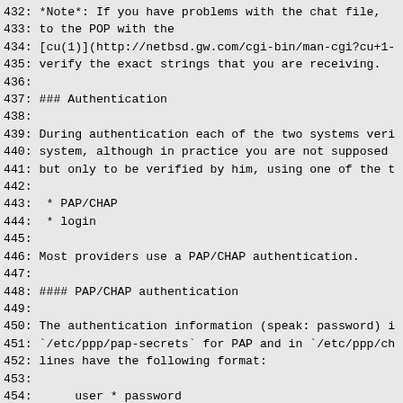432: *Note*: If you have problems with the chat file, 
433: to the POP with the
434: [cu(1)](http://netbsd.gw.com/cgi-bin/man-cgi?cu+1-
435: verify the exact strings that you are receiving.
436:
437: ### Authentication
438:
439: During authentication each of the two systems veri
440: system, although in practice you are not supposed
441: but only to be verified by him, using one of the t
442:
443:  * PAP/CHAP
444:  * login
445:
446: Most providers use a PAP/CHAP authentication.
447:
448: #### PAP/CHAP authentication
449:
450: The authentication information (speak: password) i
451: `/etc/ppp/pap-secrets` for PAP and in `/etc/ppp/ch
452: lines have the following format:
453:
454:      user * password
455:
456: For example:
457:
458:      alan * pZY9o
459:
460: For security reasons the `pap-secrets` and `chap-s
461: by root and have permissions 600.